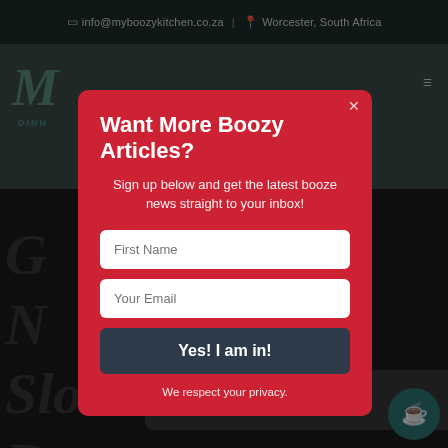info@myboozykitchen.co.za | Worcester, South Africa
[Figure (screenshot): Website background showing a food/drink blog header with logo 'M' in teal, text 'DINN...' and hamburger menu]
Want More Boozy Articles?
Sign up below and get the latest booze news straight to your inbox!
First Name
Your Email
Yes! I am in!
We respect your privacy.
can now buy me a coffee!